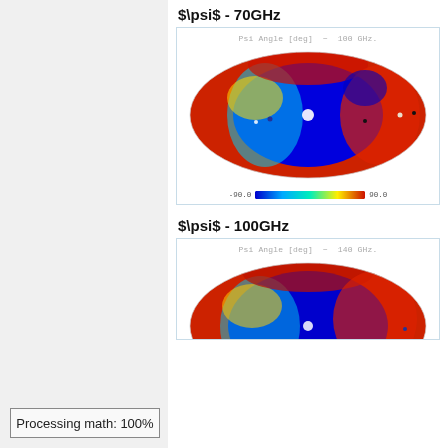$\psi$ - 70GHz
[Figure (continuous-plot): Mollweide sky projection map of Psi Angle [deg] at 100 GHz, showing polarization angle distribution with blue regions near center and red/orange at edges. Colorbar ranges from -90.0 to 90.0 degrees.]
$\psi$ - 100GHz
[Figure (continuous-plot): Mollweide sky projection map of Psi Angle [deg] at 140 GHz, partially visible at bottom of page, showing blue and red-orange patterns.]
Processing math: 100%